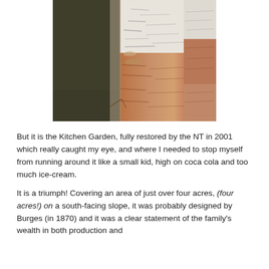[Figure (photo): Close-up photograph of birch tree trunks showing distinctive white and reddish-brown peeling bark, with green foliage visible in the background.]
But it is the Kitchen Garden, fully restored by the NT in 2001 which really caught my eye, and where I needed to stop myself from running around it like a small kid, high on coca cola and too much ice-cream.
It is a triumph! Covering an area of just over four acres, (four acres!) on a south-facing slope, it was probably designed by Burges (in 1870) and it was a clear statement of the family's wealth in both production and